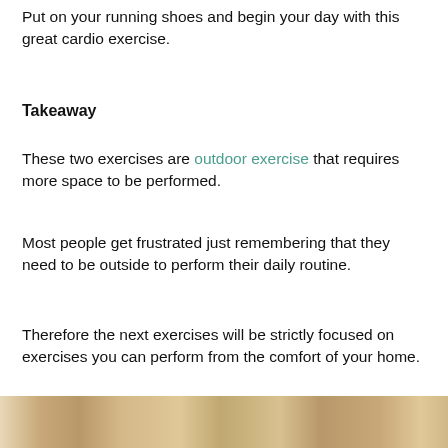Put on your running shoes and begin your day with this great cardio exercise.
Takeaway
These two exercises are outdoor exercise that requires more space to be performed.
Most people get frustrated just remembering that they need to be outside to perform their daily routine.
Therefore the next exercises will be strictly focused on exercises you can perform from the comfort of your home.
[Figure (photo): Photograph strip showing what appears to be an indoor exercise or home setting scene]